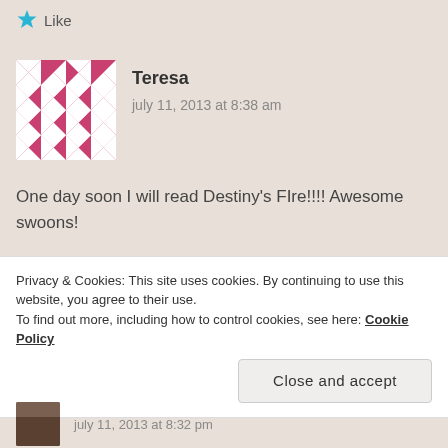[Figure (illustration): Blue star like button icon with text 'Like']
[Figure (illustration): Decorative avatar image with pink and white geometric quilt-like pattern]
Teresa
july 11, 2013 at 8:38 am
One day soon I will read Destiny's FIre!!!! Awesome swoons!
My Swoon
Teresa @ Readers Live A Thousand Lives
Privacy & Cookies: This site uses cookies. By continuing to use this website, you agree to their use.
To find out more, including how to control cookies, see here: Cookie Policy
Close and accept
july 11, 2013 at 8:32 pm